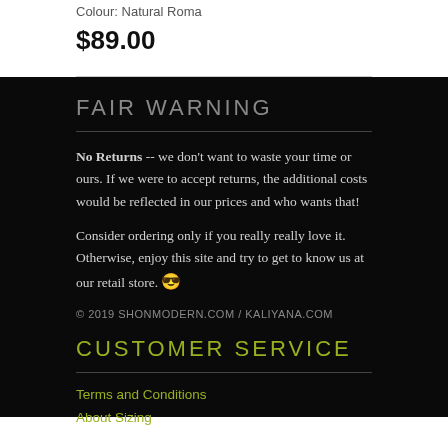Colour: Natural Roma
$89.00
FAIR WARNING
No Returns -- we don't want to waste your time or ours. If we were to accept returns, the additional costs would be reflected in our prices and who wants that!
Consider ordering only if you really really love it. Otherwise, enjoy this site and try to get to know us at our retail store. 😎
© 2019 SHONMODERN.COM / KALIYANA.COM
CUSTOMER SERVICE
Terms and Conditions
About Sizing